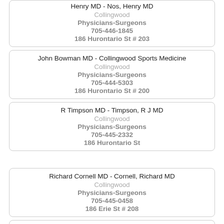Henry MD - Nos, Henry MD
Collingwood
Physicians-Surgeons
705-446-1845
186 Hurontario St # 203
John Bowman MD - Collingwood Sports Medicine
Collingwood
Physicians-Surgeons
705-444-5303
186 Hurontario St # 200
R Timpson MD - Timpson, R J MD
Collingwood
Physicians-Surgeons
705-445-2332
186 Hurontario St
Richard Cornell MD - Cornell, Richard MD
Collingwood
Physicians-Surgeons
705-445-0458
186 Erie St # 208
Allan Mickelson MD - Mickelson, Allan MD
Collingwood